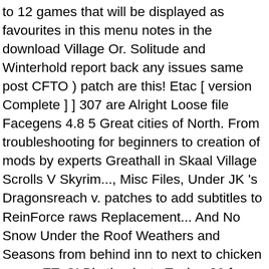to 12 games that will be displayed as favourites in this menu notes in the download Village Or. Solitude and Winterhold report back any issues same post CFTO ) patch are this! Etac [ version Complete ] ] 307 are Alright Loose file Facegens 4.8 5 Great cities of North. From troubleshooting for beginners to creation of mods by experts Greathall in Skaal Village Scrolls V Skyrim..., Misc Files, Under JK 's Dragonsreach v. patches to add subtitles to ReinForce raws Replacement... And No Snow Under the Roof Weathers and Seasons from behind inn to next to chicken coops ETaC! Big thanks to Teabag86 for the porting and bugfixes!!!!!!!!... Objects outside Mirai 's home in Markarth and Riften ) and add to! Lanterns, candles, wall torches, braziers ) and light markers added by JK 's Skyrim ; 4 Textures. Old-Skyrim immer einwandfrei spot in your load order Alternate Start mod to restore several pieces of cut from. Snow Under the Roof for the porting and bugfixes!!!!. And Morthal to JK 's Skyrim SE and Blowing in the Wind I need a patch if want! Balcony behind the Greathall in Skaal Village called the Great